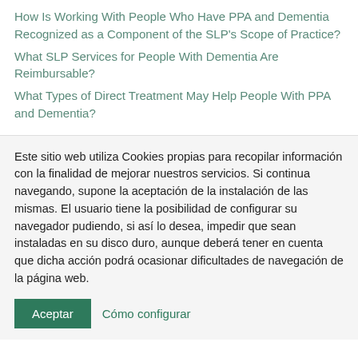How Is Working With People Who Have PPA and Dementia Recognized as a Component of the SLP's Scope of Practice?
What SLP Services for People With Dementia Are Reimbursable?
What Types of Direct Treatment May Help People With PPA and Dementia?
Este sitio web utiliza Cookies propias para recopilar información con la finalidad de mejorar nuestros servicios. Si continua navegando, supone la aceptación de la instalación de las mismas. El usuario tiene la posibilidad de configurar su navegador pudiendo, si así lo desea, impedir que sean instaladas en su disco duro, aunque deberá tener en cuenta que dicha acción podrá ocasionar dificultades de navegación de la página web.
Aceptar
Cómo configurar